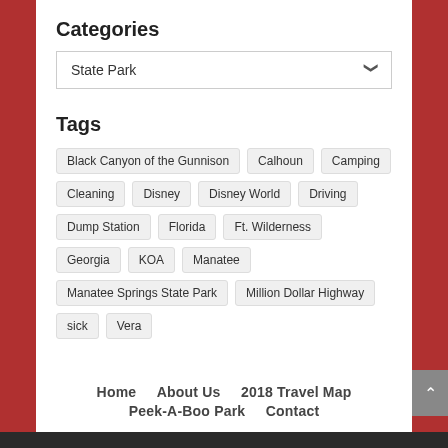Categories
State Park
Tags
Black Canyon of the Gunnison
Calhoun
Camping
Cleaning
Disney
Disney World
Driving
Dump Station
Florida
Ft. Wilderness
Georgia
KOA
Manatee
Manatee Springs State Park
Million Dollar Highway
sick
Vera
Home   About Us   2018 Travel Map   Peek-A-Boo Park   Contact